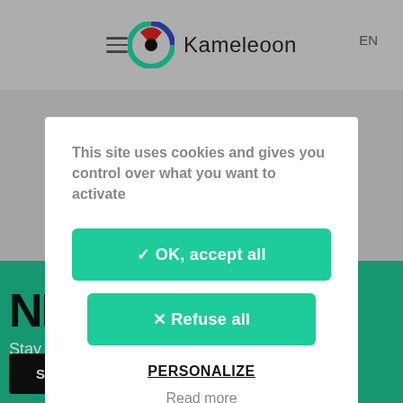Kameleoon EN
[Figure (screenshot): Kameleoon website with teal newsletter section partially visible behind cookie consent modal]
This site uses cookies and gives you control over what you want to activate
✓ OK, accept all
✕ Refuse all
PERSONALIZE
Read more